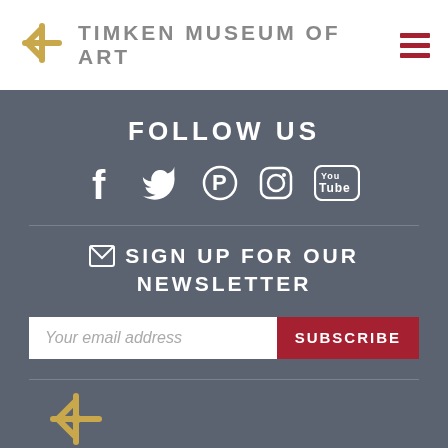TIMKEN MUSEUM OF ART
FOLLOW US
[Figure (infographic): Social media icons: Facebook, Twitter, Pinterest, Instagram, YouTube]
SIGN UP FOR OUR NEWSLETTER
Your email address
SUBSCRIBE
[Figure (logo): Timken Museum of Art decorative gold snowflake/star logo mark at bottom]